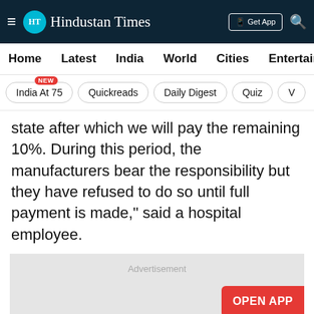Hindustan Times
Home  Latest  India  World  Cities  Entertainment
India At 75  Quickreads  Daily Digest  Quiz  V
state after which we will pay the remaining 10%. During this period, the manufacturers bear the responsibility but they have refused to do so until full payment is made," said a hospital employee.
[Figure (other): Advertisement placeholder box with 'OPEN APP' button]